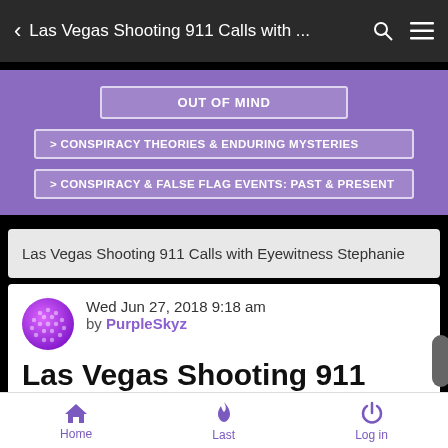< Las Vegas Shooting 911 Calls with … 🔍 ≡
OUT OF MIND
> CONSPIRACY THEORIES & ENDURING MYSTERIES
> CONSPIRACY & FALSE FLAG EVENTS: PAST & PRESENT
Las Vegas Shooting 911 Calls with Eyewitness Stephanie
Wed Jun 27, 2018 9:18 am
by PurpleSkyz
Las Vegas Shooting 911 Calls with
Home   Last   Log in